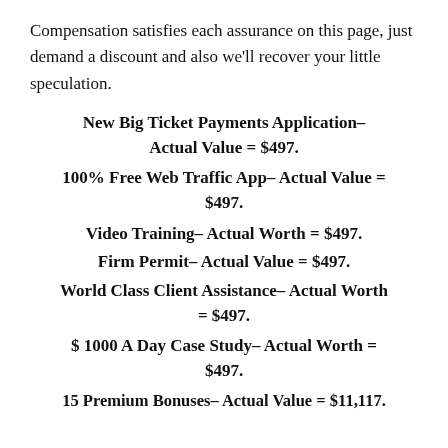Compensation satisfies each assurance on this page, just demand a discount and also we'll recover your little speculation.
New Big Ticket Payments Application– Actual Value = $497.
100% Free Web Traffic App– Actual Value = $497.
Video Training– Actual Worth = $497.
Firm Permit– Actual Value = $497.
World Class Client Assistance– Actual Worth = $497.
$ 1000 A Day Case Study– Actual Worth = $497.
15 Premium Bonuses– Actual Value = $11,117.